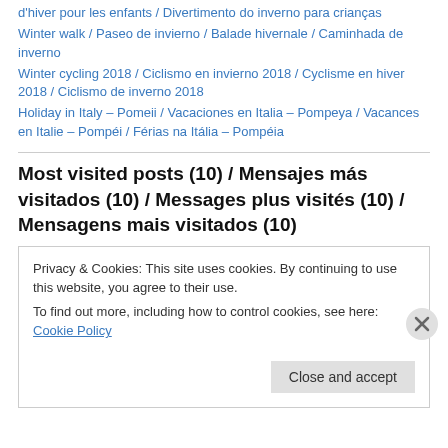d'hiver pour les enfants / Divertimento do inverno para crianças
Winter walk / Paseo de invierno / Balade hivernale / Caminhada de inverno
Winter cycling 2018 / Ciclismo en invierno 2018 / Cyclisme en hiver 2018 / Ciclismo de inverno 2018
Holiday in Italy – Pomeii / Vacaciones en Italia – Pompeya / Vacances en Italie – Pompéi / Férias na Itália – Pompéia
Most visited posts (10) / Mensajes más visitados (10) / Messages plus visités (10) / Mensagens mais visitados (10)
Privacy & Cookies: This site uses cookies. By continuing to use this website, you agree to their use.
To find out more, including how to control cookies, see here: Cookie Policy
Close and accept